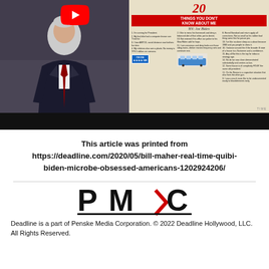[Figure (screenshot): Video thumbnail showing a man in a dark suit with red tie on the left side, and on the right a Time magazine style image titled 'Things You Don't Know About Me By: Joe Biden' with an 'I'm On Her' sign and a train. A YouTube play button is overlaid at the top center.]
This article was printed from https://deadline.com/2020/05/bill-maher-real-time-quibi-biden-microbe-obsessed-americans-1202924206/
[Figure (logo): PMC (Penske Media Corporation) logo in black and red]
Deadline is a part of Penske Media Corporation. © 2022 Deadline Hollywood, LLC. All Rights Reserved.